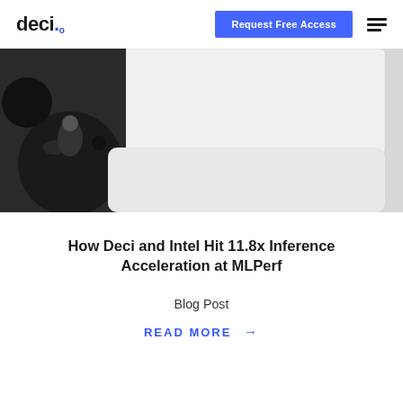deci. | Request Free Access
[Figure (photo): Partial photo of dark robotic/mechanical spheres on a light grey background, partially cropped at the top and sides.]
How Deci and Intel Hit 11.8x Inference Acceleration at MLPerf
Blog Post
READ MORE →